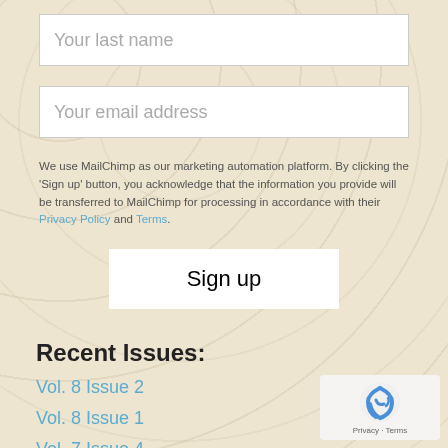Your last name
Your email address
We use MailChimp as our marketing automation platform. By clicking the 'Sign up' button, you acknowledge that the information you provide will be transferred to MailChimp for processing in accordance with their Privacy Policy and Terms.
Sign up
Recent Issues:
Vol. 8 Issue 2
Vol. 8 Issue 1
Vol. 7 Issue 4
Vol. 7 Issue 3